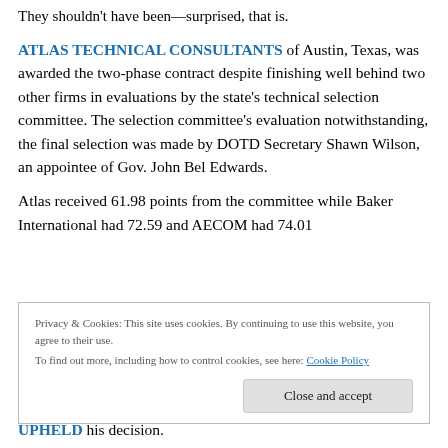They shouldn't have been—surprised, that is.
ATLAS TECHNICAL CONSULTANTS of Austin, Texas, was awarded the two-phase contract despite finishing well behind two other firms in evaluations by the state's technical selection committee. The selection committee's evaluation notwithstanding, the final selection was made by DOTD Secretary Shawn Wilson, an appointee of Gov. John Bel Edwards.
Atlas received 61.98 points from the committee while Baker International had 72.59 and AECOM had 74.01
Privacy & Cookies: This site uses cookies. By continuing to use this website, you agree to their use.
To find out more, including how to control cookies, see here: Cookie Policy
UPHELD his decision.